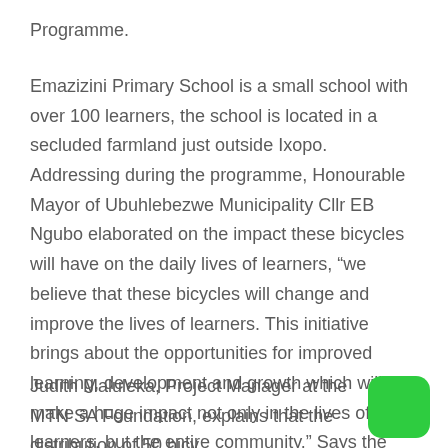Programme.
Emazizini Primary School is a small school with over 100 learners, the school is located in a secluded farmland just outside Ixopo. Addressing during the programme, Honourable Mayor of Ubuhlebezwe Municipality Cllr EB Ngubo elaborated on the impact these bicycles will have on the daily lives of learners, “we believe that these bicycles will change and improve the lives of learners. This initiative brings about the opportunities for improved learning, development and growth which will make a huge impact not only in the lives of the learners, but the entire community.” Says the Mayor
Judith Maluleka, Project Manager at the MTN SA Foundation, explains that the distribution of 50 bicy…